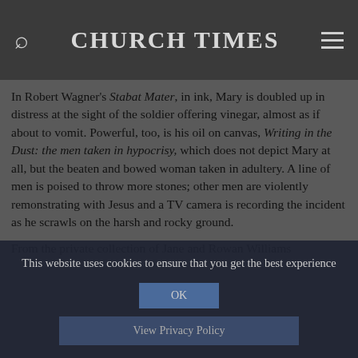CHURCH TIMES
In Robert Wagner's Stabat Mater, in ink, Mary is doubled up in distress at the sight of the soldier offering vinegar, almost as if about to vomit. Powerful, too, is his oil on canvas, Writing in the Dust: the men taken in hypocrisy, which does not depict Mary at all, but the beaten and bowed woman taken in adultery. A line of men is poised to throw more stones; other men are violently remonstrating with Jesus and a TV camera is recording the incident as he scrawls on the harsh and rocky ground.
From the private collection of Jane and Rowan Williams
This website uses cookies to ensure that you get the best experience
OK
View Privacy Policy